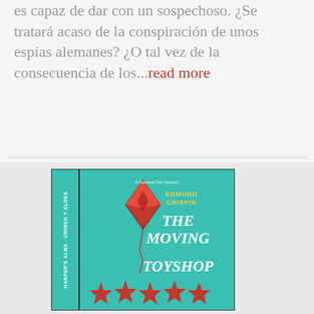...es capaz de dar con un sospechoso. ¿Se tratará acaso de la conspiración de unos espías alemanes? ¿O tal vez de la consecuencia de los...read more
[Figure (photo): Book cover for 'The Moving Toyshop' by Edmund Crispin — teal/turquoise cover with red kite and red stars, alongside the book spine]
The Moving Toyshop
Edmund Crispin
As inventive as Agatha Christie, as hilarious as P.G. Wodehouse - discover the delightful detective stories of Edmund Crispin. Crime fiction at its quirkiest and best. Richard Cadogan, poet and would-be bon vivant, arrives for what he thinks will be a relaxing holiday in the city of dreaming spires. Late one night, however...